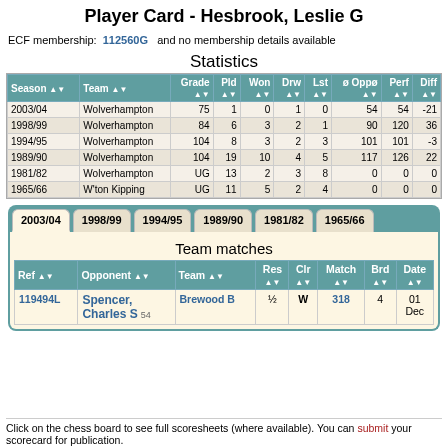Player Card - Hesbrook, Leslie G
ECF membership: 112560G and no membership details available
Statistics
| Season | Team | Grade | Pld | Won | Drw | Lst | ø Oppø | Perf | Diff |
| --- | --- | --- | --- | --- | --- | --- | --- | --- | --- |
| 2003/04 | Wolverhampton | 75 | 1 | 0 | 1 | 0 | 54 | 54 | -21 |
| 1998/99 | Wolverhampton | 84 | 6 | 3 | 2 | 1 | 90 | 120 | 36 |
| 1994/95 | Wolverhampton | 104 | 8 | 3 | 2 | 3 | 101 | 101 | -3 |
| 1989/90 | Wolverhampton | 104 | 19 | 10 | 4 | 5 | 117 | 126 | 22 |
| 1981/82 | Wolverhampton | UG | 13 | 2 | 3 | 8 | 0 | 0 | 0 |
| 1965/66 | W'ton Kipping | UG | 11 | 5 | 2 | 4 | 0 | 0 | 0 |
Team matches
| Ref | Opponent | Team | Res | Clr | Match | Brd | Date |
| --- | --- | --- | --- | --- | --- | --- | --- |
| 119494L | Spencer, Charles S 54 | Brewood B | ½ | W | 318 | 4 | 01 Dec |
Click on the chess board to see full scoresheets (where available). You can submit your scorecard for publication.